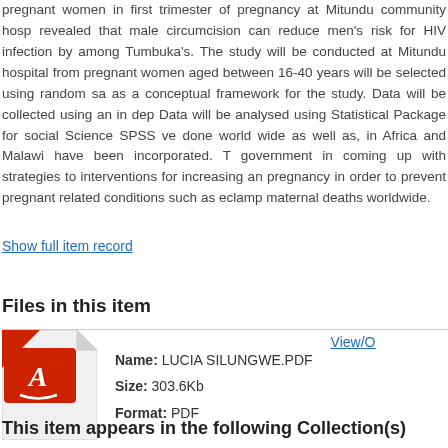pregnant women in first trimester of pregnancy at Mitundu community hospital revealed that male circumcision can reduce men's risk for HIV infection by among Tumbuka's. The study will be conducted at Mitundu hospital from pregnant women aged between 16-40 years will be selected using random sampling as a conceptual framework for the study. Data will be collected using an in depth Data will be analysed using Statistical Package for social Science SPSS ve done world wide as well as, in Africa and Malawi have been incorporated. The government in coming up with strategies to interventions for increasing antenatal pregnancy in order to prevent pregnant related conditions such as eclampsia maternal deaths worldwide.
Show full item record
Files in this item
[Figure (illustration): PDF file icon - red Adobe PDF logo on a white folded-corner document background]
Name: LUCIA SILUNGWE.PDF
Size: 303.6Kb
Format: PDF
This item appears in the following Collection(s)